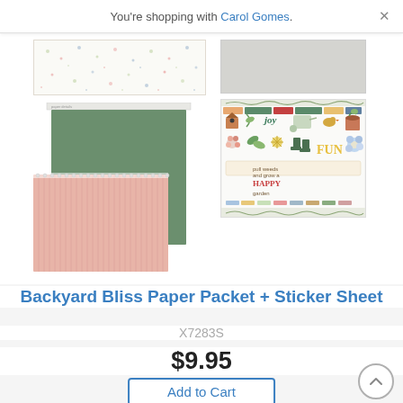You're shopping with Carol Gomes.
[Figure (photo): Product images of Backyard Bliss Paper Packet and Sticker Sheet showing floral patterned paper, gray paper, stacked green and pink striped papers, and a colorful sticker sheet with garden/nature motifs including flowers, a watering can, boots, 'joy', 'fun', and 'happy' text elements.]
Backyard Bliss Paper Packet + Sticker Sheet
X7283S
$9.95
Add to Cart